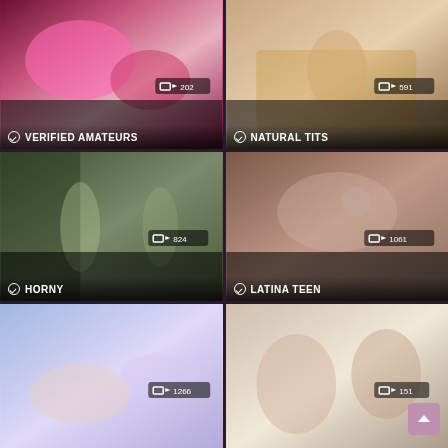[Figure (screenshot): Video thumbnail grid showing 6 category tiles. Top-left: VERIFIED AMATEURS (202 videos). Top-right: NATURAL TITS (591 videos). Middle-left: HORNY (824 videos). Middle-right: LATINA TEEN (1061 videos). Bottom-left: unlabeled (1266 videos). Bottom-right: unlabeled (151 videos) with scroll-to-top button.]